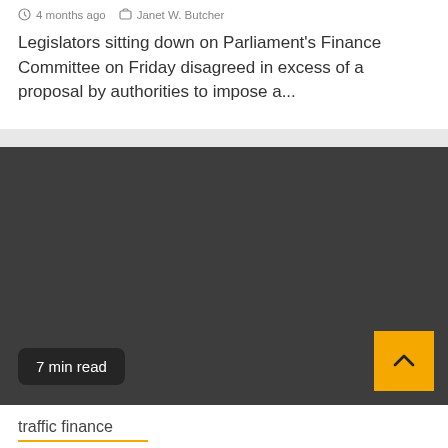4 months ago  Janet W. Butcher
Legislators sitting down on Parliament's Finance Committee on Friday disagreed in excess of a proposal by authorities to impose a...
[Figure (photo): Dark gray/charcoal colored image block serving as a thumbnail or video placeholder for the article]
7 min read
traffic finance